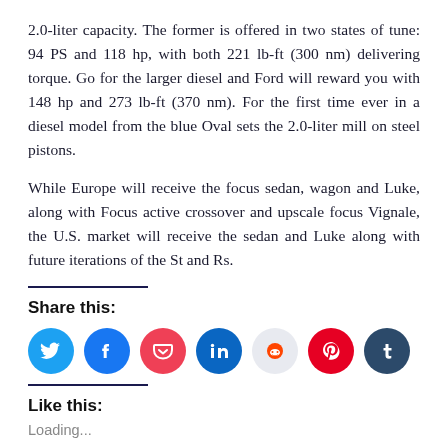2.0-liter capacity. The former is offered in two states of tune: 94 PS and 118 hp, with both 221 lb-ft (300 nm) delivering torque. Go for the larger diesel and Ford will reward you with 148 hp and 273 lb-ft (370 nm). For the first time ever in a diesel model from the blue Oval sets the 2.0-liter mill on steel pistons.
While Europe will receive the focus sedan, wagon and Luke, along with Focus active crossover and upscale focus Vignale, the U.S. market will receive the sedan and Luke along with future iterations of the St and Rs.
Share this:
[Figure (infographic): Social media sharing icons: Twitter, Facebook, Pocket, LinkedIn, Reddit, Pinterest, Tumblr]
Like this:
Loading...